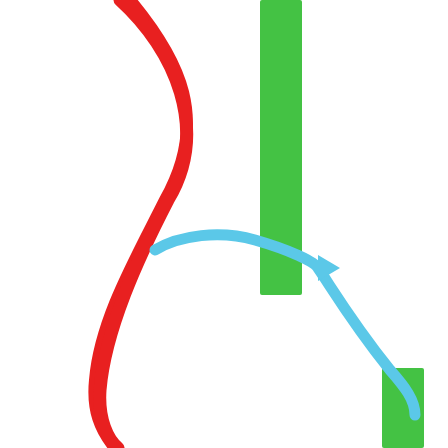[Figure (continuous-plot): A vertical timeline/chart showing years 2010 to 2040+ on the right axis (blue vertical line with tick marks at 2010, 2020, 2030, 2040). Three green vertical bars are visible at different y-positions (roughly 2010, 2030, and 2010 levels). A red curved line sweeps from the upper left area down and then curves back up at bottom right. A blue curved arrow/line starts around the 2030 level on the left side, curves rightward with an arrowhead, then sweeps down to around the 2020 level.]